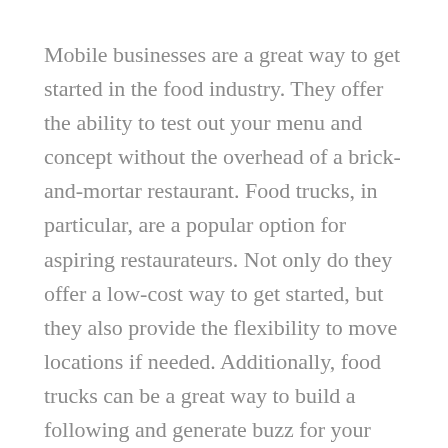Mobile businesses are a great way to get started in the food industry. They offer the ability to test out your menu and concept without the overhead of a brick-and-mortar restaurant. Food trucks, in particular, are a popular option for aspiring restaurateurs. Not only do they offer a low-cost way to get started, but they also provide the flexibility to move locations if needed. Additionally, food trucks can be a great way to build a following and generate buzz for your business. If you're considering starting a mobile food business, here are a few things to remember.
First, you'll need to obtain your local government's necessary permits and licenses. This can be daunting,